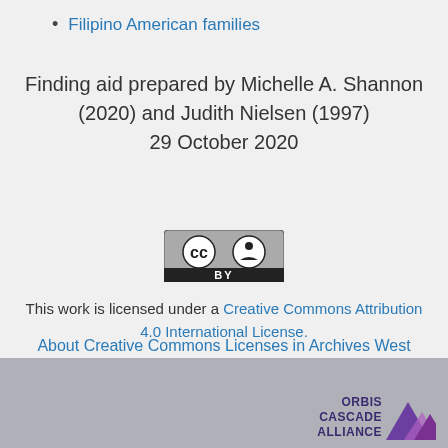Filipino American families
Finding aid prepared by Michelle A. Shannon (2020) and Judith Nielsen (1997)
29 October 2020
[Figure (logo): Creative Commons Attribution (CC BY) license badge — grey rectangle with CC and person icons and 'BY' label]
This work is licensed under a Creative Commons Attribution 4.0 International License.
About Creative Commons Licenses in Archives West
[Figure (logo): Orbis Cascade Alliance logo — text with purple mountain/sail graphic]